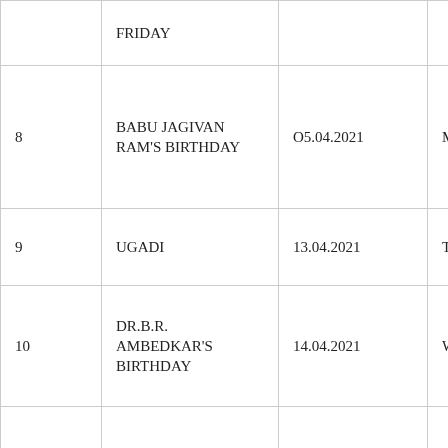| No. | Holiday | Date | Day |
| --- | --- | --- | --- |
|  | FRIDAY |  |  |
| 8 | BABU JAGIVAN RAM'S BIRTHDAY | O5.04.2021 | MONDAY |
| 9 | UGADI | 13.04.2021 | TUESDAY |
| 10 | DR.B.R. AMBEDKAR'S BIRTHDAY | 14.04.2021 | WEDNESDAY |
| 11 | SRI RAMA NAVAMI | 21.04.2021 | WEDNESDAY |
| 12 | RAMZAN (Eid-ul- | 14.05.2021 | FRIDAY |